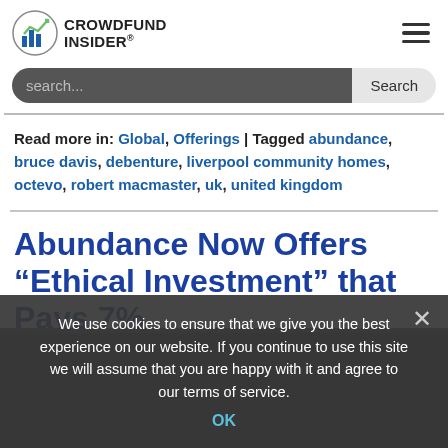CROWDFUND INSIDER
search...
Read more in: Global, Offerings | Tagged abundance, bruce davis, debenture, liverpool community homes, octevo, robert macmaster, uk, united kingdom
Abundance Now Offers “Ethical Investment” that Pays 7%
We use cookies to ensure that we give you the best experience on our website. If you continue to use this site we will assume that you are happy with it and agree to our terms of service.